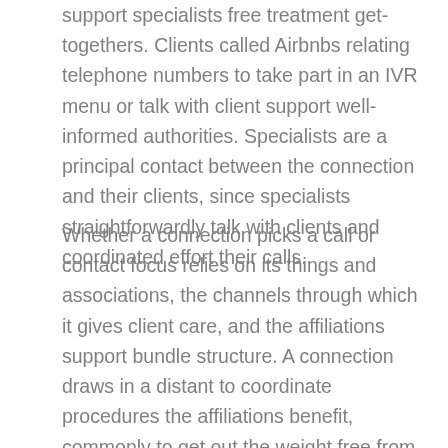support specialists free treatment get-togethers. Clients called Airbnbs relating telephone numbers to take part in an IVR menu or talk with client support well-informed authorities. Specialists are a principal contact between the connection and their clients, since specialists straightforwardly talk with clients and coordinated effort their calls.
Whether a connection picks a call or contact focus relies on its things and associations, the channels through which it gives client care, and the affiliations support bundle structure. A connection draws in a distant to coordinate procedures the affiliations benefit, commonly to get out the weight free from joining up and preparing call focus prepared experts, as well as setting resources into and reviving the focuses improvement, all of which could reduce down utilitarian expenses. Quality confirmation get-togethers could screen and evaluate specialists call execution at the call neighborhood, that the call quality and the client experience are according to focus norms. Right when